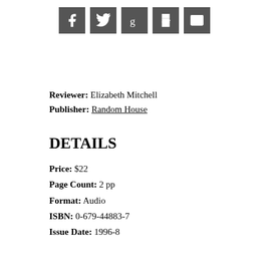[Figure (other): Social media sharing icons: Facebook, Twitter, Goodreads, Print, Email]
Reviewer: Elizabeth Mitchell
Publisher: Random House
DETAILS
Price: $22
Page Count: 2 pp
Format: Audio
ISBN: 0-679-44883-7
Issue Date: 1996-8